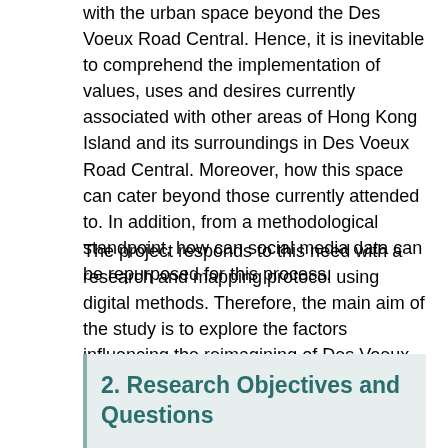with the urban space beyond the Des Voeux Road Central. Hence, it is inevitable to comprehend the implementation of values, uses and desires currently associated with other areas of Hong Kong Island and its surroundings in Des Voeux Road Central. Moreover, how this space can cater beyond those currently attended to. In addition, from a methodological standpoint, how can social media data can be repurposed for this process.
The project responds to this need with a research and mapping protocol using digital methods. Therefore, the main aim of the study is to explore the factors influencing the reimagining of Des Voeux Road Central and how they contrast with the proposal of HKCAN. Furthermore, engagement of people in Hong Kong will be explored from social media (Facebook) data which is ultimately, to capture issues and sentiments related to Hong Kong. Lastly, to comprehend the global aspects of a central district area, various video from Youtube will be explored.
2. Research Objectives and Questions